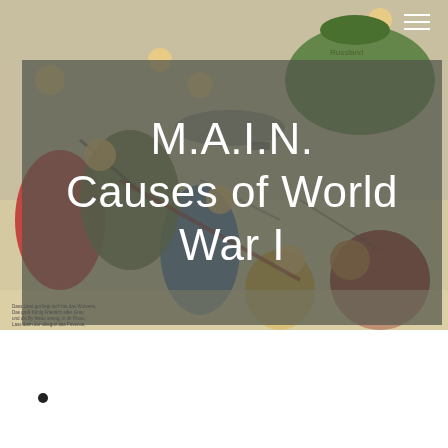[Figure (illustration): A colorful vintage-style illustrated cartoon poster depicting caricatures of soldiers and figures from various nations fighting and struggling with each other, reminiscent of WWI-era propaganda art. Text in German visible at the bottom left. The image covers the top portion of the page.]
M.A.I.N. Causes of World War I